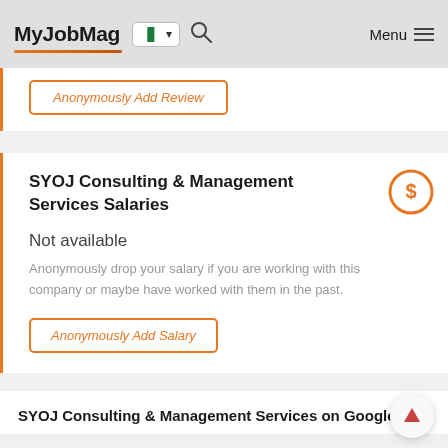MyJobMag
Anonymously Add Review
SYOJ Consulting & Management Services Salaries
Not available
Anonymously drop your salary if you are working with this company or maybe have worked with them in the past.
Anonymously Add Salary
SYOJ Consulting & Management Services on Google M